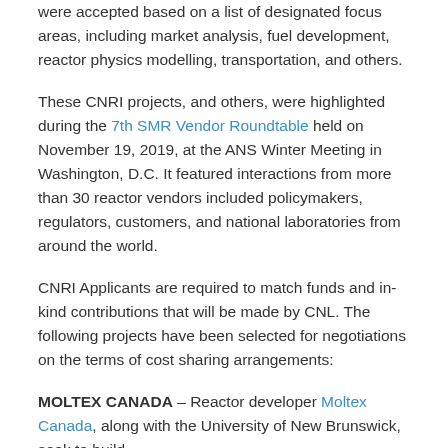were accepted based on a list of designated focus areas, including market analysis, fuel development, reactor physics modelling, transportation, and others.
These CNRI projects, and others, were highlighted during the 7th SMR Vendor Roundtable held on November 19, 2019, at the ANS Winter Meeting in Washington, D.C. It featured interactions from more than 30 reactor vendors included policymakers, regulators, customers, and national laboratories from around the world.
CNRI Applicants are required to match funds and in-kind contributions that will be made by CNL. The following projects have been selected for negotiations on the terms of cost sharing arrangements:
MOLTEX CANADA – Reactor developer Moltex Canada, along with the University of New Brunswick, seek to build